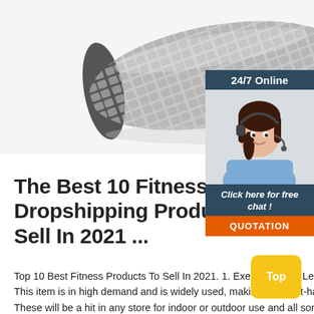[Figure (photo): Gray textured foam roller on white background, top portion visible]
[Figure (photo): 24/7 Online chat widget with woman wearing headset, dark blue header, 'Click here for free chat!' text, and orange QUOTATION button]
The Best 10 Fitness Dropshipping Products To Sell In 2021 ...
Top 10 Best Fitness Products To Sell In 2021. 1. Exercise Mats. Let's start with the basics. This item is in high demand and is widely used, making it a must-have in your store. These will be a hit in any store for indoor or outdoor use and all sorts of activities and exercises.
[Figure (other): Yellow 'Top' button in bottom right corner]